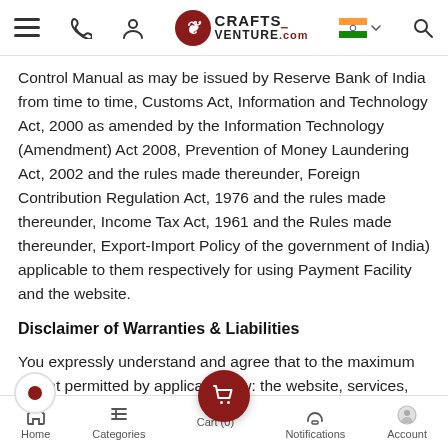CraftsVenture.com navigation header
Control Manual as may be issued by Reserve Bank of India from time to time, Customs Act, Information and Technology Act, 2000 as amended by the Information Technology (Amendment) Act 2008, Prevention of Money Laundering Act, 2002 and the rules made thereunder, Foreign Contribution Regulation Act, 1976 and the rules made thereunder, Income Tax Act, 1961 and the Rules made thereunder, Export-Import Policy of the government of India) applicable to them respectively for using Payment Facility and the website.
Disclaimer of Warranties & Liabilities
You expressly understand and agree that to the maximum extent permitted by applicable law: the website, services, and other materials are provided by this website is on an "as is" basis without warranty of
Home | Categories | Cart (0) | Notifications | Account